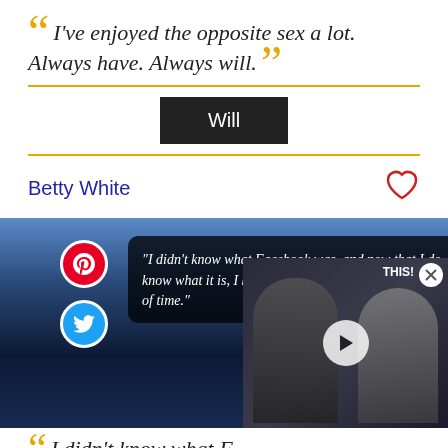“I’ve enjoyed the opposite sex a lot. Always have. Always will.”
Will
Betty White
[Figure (screenshot): Quote image with text: “I didn’t know what Facebook was, and now that I do know what it is, I have to say, it sounds like a huge waste of time.” with Pinterest and Twitter share icons, Betty White signature, and TheFamousPeople.com badge. A video overlay shows two men and a play button with 'THIS!' label and close button.]
I didn’t know what F…